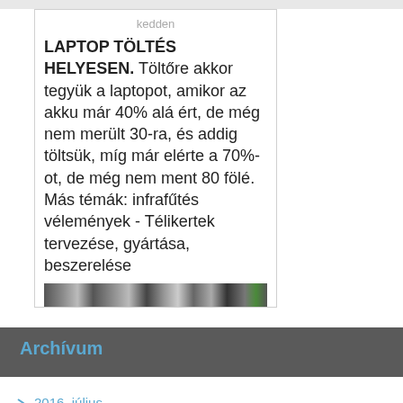kedden
LAPTOP TÖLTÉS HELYESEN. Töltőre akkor tegyük a laptopot, amikor az akku már 40% alá ért, de még nem merült 30-ra, és addig töltsük, míg már elérte a 70%-ot, de még nem ment 80 fölé. Más témák: infrafűtés vélemények - Télikertek tervezése, gyártása, beszerelése
[Figure (photo): Blurred/pixelated image strip at bottom of card]
Archívum
2016. július
2015. augusztus
2015. július